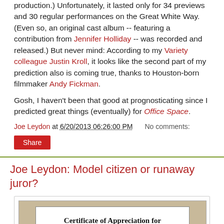production.) Unfortunately, it lasted only for 34 previews and 30 regular performances on the Great White Way. (Even so, an original cast album -- featuring a contribution from Jennifer Holliday -- was recorded and released.) But never mind: According to my Variety colleague Justin Kroll, it looks like the second part of my prediction also is coming true, thanks to Houston-born filmmaker Andy Fickman.

Gosh, I haven't been that good at prognosticating since I predicted great things (eventually) for Office Space.
Joe Leydon at 6/20/2013 06:26:00 PM   No comments:
Share
Joe Leydon: Model citizen or runaway juror?
[Figure (photo): A photograph of a Certificate of Appreciation for Jury Service document]